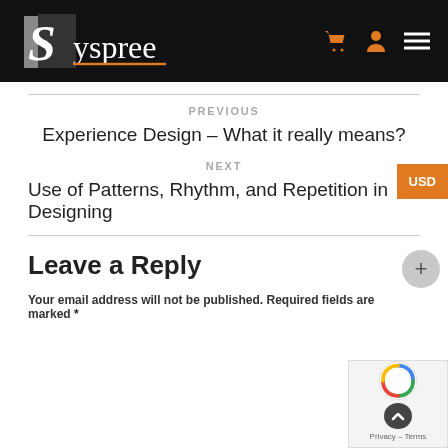Syspree
PREVIOUS
Experience Design – What it really means?
NEXT
Use of Patterns, Rhythm, and Repetition in Designing
Leave a Reply
Your email address will not be published. Required fields are marked *